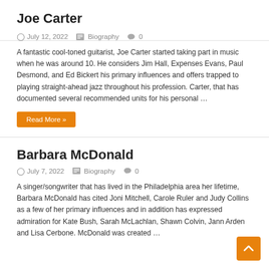Joe Carter
July 12, 2022   Biography   0
A fantastic cool-toned guitarist, Joe Carter started taking part in music when he was around 10. He considers Jim Hall, Expenses Evans, Paul Desmond, and Ed Bickert his primary influences and offers trapped to playing straight-ahead jazz throughout his profession. Carter, that has documented several recommended units for his personal …
Read More »
Barbara McDonald
July 7, 2022   Biography   0
A singer/songwriter that has lived in the Philadelphia area her lifetime, Barbara McDonald has cited Joni Mitchell, Carole Ruler and Judy Collins as a few of her primary influences and in addition has expressed admiration for Kate Bush, Sarah McLachlan, Shawn Colvin, Jann Arden and Lisa Cerbone. McDonald was created …